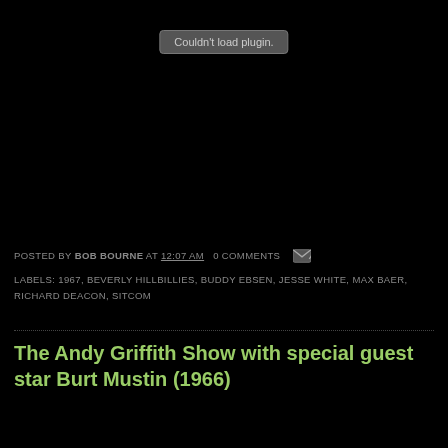[Figure (other): Plugin placeholder box showing 'Couldn't load plugin.' on black background]
POSTED BY BOB BOURNE AT 12:07 AM   0 COMMENTS
LABELS: 1967, BEVERLY HILLBILLIES, BUDDY EBSEN, JESSE WHITE, MAX BAER, RICHARD DEACON, SITCOM
The Andy Griffith Show with special guest star Burt Mustin (1966)